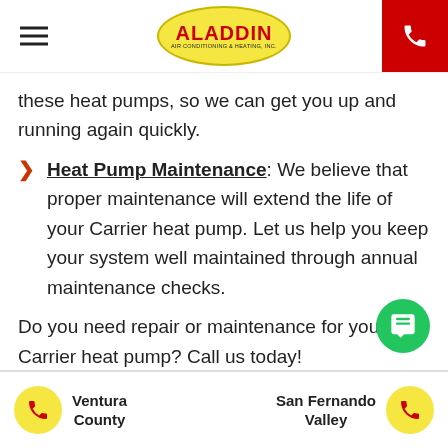Aladdin Air Conditioning & Heating, Inc.
these heat pumps, so we can get you up and running again quickly.
Heat Pump Maintenance: We believe that proper maintenance will extend the life of your Carrier heat pump. Let us help you keep your system well maintained through annual maintenance checks.
Do you need repair or maintenance for your Carrier heat pump? Call us today!
Schedule Carrier Heat Pump Service in
Ventura County | San Fernando Valley